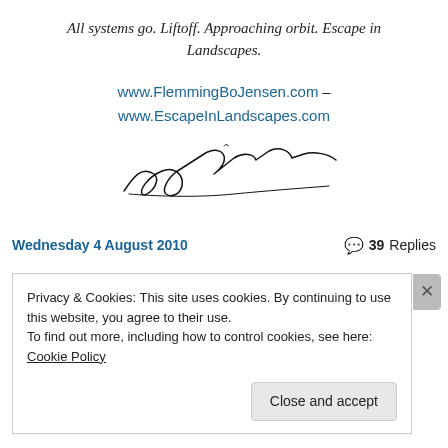All systems go. Liftoff. Approaching orbit. Escape in Landscapes.
www.FlemmingBoJensen.com – www.EscapeInLandscapes.com
[Figure (illustration): Handwritten signature of Flemming Bo Jensen]
Wednesday 4 August 2010    39 Replies
Privacy & Cookies: This site uses cookies. By continuing to use this website, you agree to their use. To find out more, including how to control cookies, see here: Cookie Policy
Close and accept